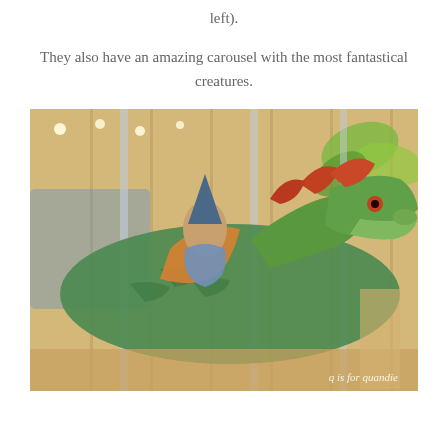left).
They also have an amazing carousel with the most fantastical creatures.
[Figure (photo): A colorful carousel dragon figure with a wizard rider, photographed indoors at a carousel venue. The dragon is painted green and orange with red accents. A wooden carousel setting with lights and tropical plant decorations visible in the background. Watermark reads 'q is for quandie'.]